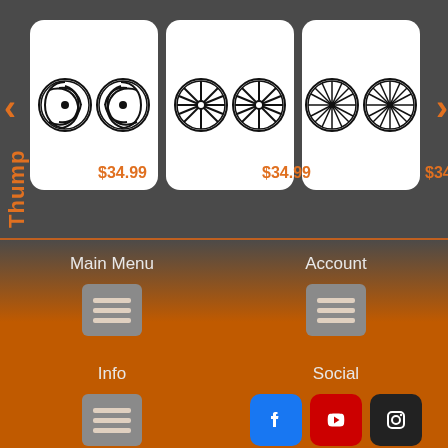Thump
[Figure (screenshot): Product carousel showing three speaker grill cover products, each priced at $34.99. First card shows two swirl/fan-pattern grills, second shows two cross/star-pattern grills, third shows two leaf/spoke-pattern grills. Left and right orange navigation arrows visible.]
$34.99
$34.99
$34.99
Main Menu
[Figure (screenshot): Gray hamburger menu icon button for Main Menu]
Account
[Figure (screenshot): Gray hamburger menu icon button for Account]
Info
[Figure (screenshot): Gray hamburger menu icon button for Info]
Social
[Figure (screenshot): Social media buttons: Facebook (blue), YouTube (red), Instagram (dark/black)]